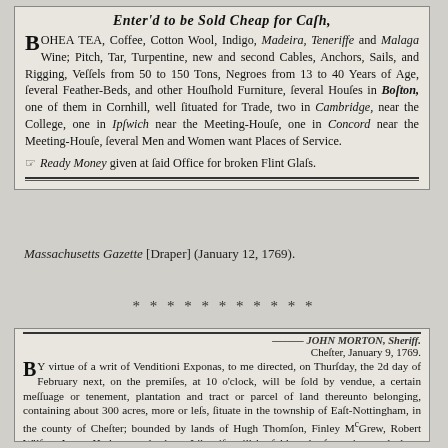[Figure (other): Scanned newspaper advertisement from Massachusetts Gazette [Draper] (January 12, 1769) advertising goods entered to be sold cheap for cash, including Bohea Tea, Coffee, Cotton Wool, Indigo, Madeira, Teneriffe and Malaga Wine, Pitch, Tar, Turpentine, Cables, Anchors, Sails, Rigging, Vessels, Negroes, Feather-Beds, Household Furniture, Houses in Boston, Cambridge, Ipswich, Concord, and persons wanting places of service. Ready Money given at said Office for broken Flint Glass.]
Massachusetts Gazette [Draper] (January 12, 1769).
***********
[Figure (other): Scanned newspaper advertisement from Chester, January 9, 1769. By virtue of a writ of Venditioni Exponas, to me directed, on Thursday, the 2d day of February next, on the premises, at 10 o'clock, will be sold by vendue, a certain messuage or tenement, plantation and tract or parcel of land thereunto belonging, containing about 300 acres, more or less, situate in the township of East-Nottingham, in the county of Chester; bounded by lands of Hugh Thomson, Finley M'Grew, Robert Wilson, James Huthers, and others. Likewise will be sold at the same time and place, horses, cows, sheep and swine, wheat in the sheaf, and in the ground, a Negroe girl, about 12 years of age, and a variety of houshold goods, and sundry other articles, too tedious to mention; late the estate and effects of Gavin Morrison, seized in execution, and to be sold by JOHN MORTON, Sheriff.]